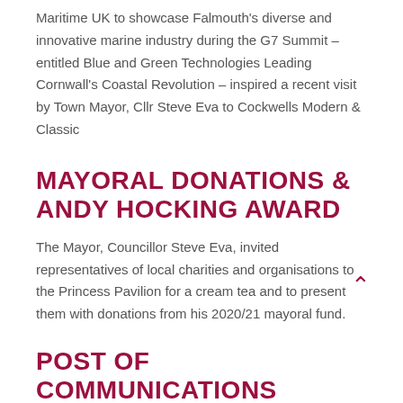Maritime UK to showcase Falmouth's diverse and innovative marine industry during the G7 Summit – entitled Blue and Green Technologies Leading Cornwall's Coastal Revolution – inspired a recent visit by Town Mayor, Cllr Steve Eva to Cockwells Modern & Classic
MAYORAL DONATIONS & ANDY HOCKING AWARD
The Mayor, Councillor Steve Eva, invited representatives of local charities and organisations to the Princess Pavilion for a cream tea and to present them with donations from his 2020/21 mayoral fund.
POST OF COMMUNICATIONS